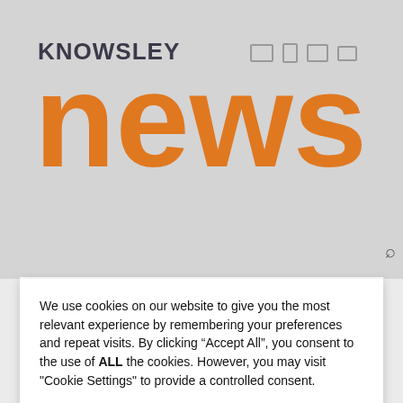[Figure (logo): Knowsley News logo with orange 'news' text and grey 'KNOWSLEY' text above, with device icons]
We use cookies on our website to give you the most relevant experience by remembering your preferences and repeat visits. By clicking “Accept All”, you consent to the use of ALL the cookies. However, you may visit "Cookie Settings" to provide a controlled consent.
Settings
Accept All
View our Cookie Policy
Home › Business and economy › Youth employment programme up for national award
[Figure (photo): Blurred photo of people in a group setting]